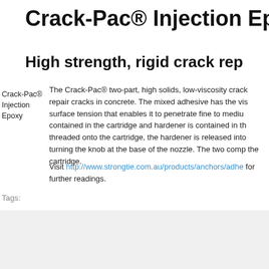Crack-Pac® Injection Ep
High strength, rigid crack rep
Crack-Pac® Injection Epoxy
The Crack-Pac® two-part, high solids, low-viscosity crack repair cracks in concrete. The mixed adhesive has the vis surface tension that enables it to penetrate fine to mediu contained in the cartridge and hardener is contained in th threaded onto the cartridge, the hardener is released into turning the knob at the base of the nozzle. The two comp the cartridge.
Visit http://www.strongtie.com.au/products/anchors/adhe for further readings.
Tags: